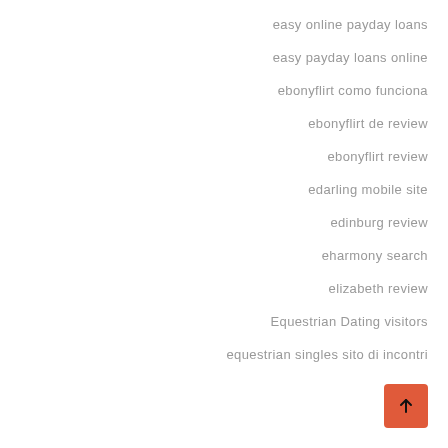easy online payday loans
easy payday loans online
ebonyflirt como funciona
ebonyflirt de review
ebonyflirt review
edarling mobile site
edinburg review
eharmony search
elizabeth review
Equestrian Dating visitors
equestrian singles sito di incontri